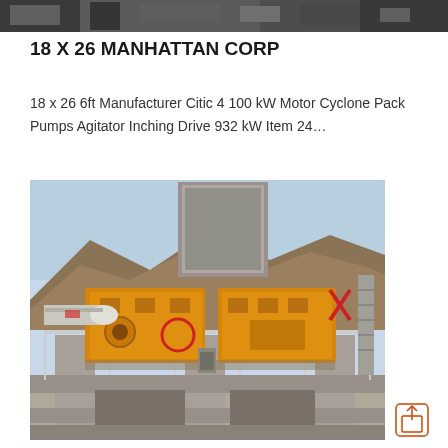[Figure (photo): Partial view of industrial mining or crushing equipment, dark/grey tones, top banner image]
18 X 26 MANHATTAN CORP
18 x 26 6ft Manufacturer Citic 4 100 kW Motor Cyclone Pack Pumps Agitator Inching Drive 932 kW Item 24…
[Figure (photo): Yellow industrial jaw crusher / mineral processing machinery mounted on concrete structure, with mountains in background]
[Figure (other): Share/export icon button in bottom right corner]